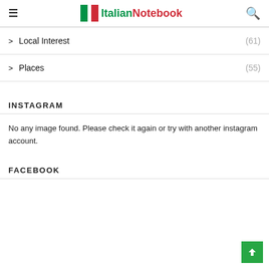ItalianNotebook
Local Interest (61)
Places (55)
INSTAGRAM
No any image found. Please check it again or try with another instagram account.
FACEBOOK